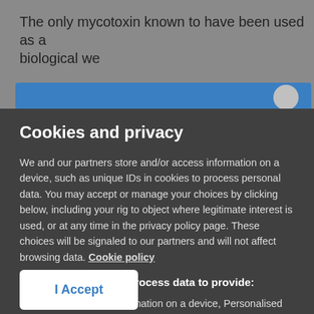The only mycotoxin known to have been used as a biological weapon
Cookies and privacy
We and our partners store and/or access information on a device, such as unique IDs in cookies to process personal data. You may accept or manage your choices by clicking below, including your right to object where legitimate interest is used, or at any time in the privacy policy page. These choices will be signaled to our partners and will not affect browsing data. Cookie policy
We and our partners process data to provide:
Store and/or access information on a device, Personalised ads and content, ad and content measurement, audience insights and product development, Use precise geolocation data, Actively scan device characteristics for identification
List of Partners (vendors)